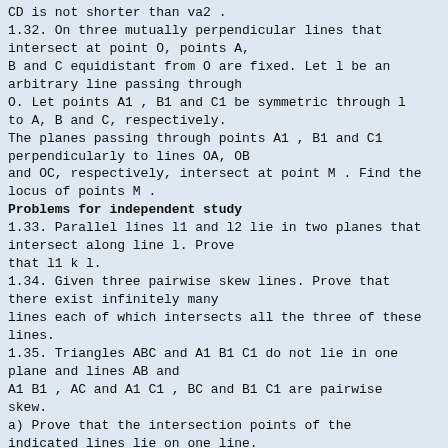CD is not shorter than va2 .
1.32. On three mutually perpendicular lines that intersect at point O, points A,
B and C equidistant from O are fixed. Let l be an arbitrary line passing through
O. Let points A1 , B1 and C1 be symmetric through l to A, B and C, respectively.
The planes passing through points A1 , B1 and C1 perpendicularly to lines OA, OB
and OC, respectively, intersect at point M . Find the locus of points M .
Problems for independent study
1.33. Parallel lines l1 and l2 lie in two planes that intersect along line l. Prove
that l1 k l.
1.34. Given three pairwise skew lines. Prove that there exist infinitely many
lines each of which intersects all the three of these lines.
1.35. Triangles ABC and A1 B1 C1 do not lie in one plane and lines AB and
A1 B1 , AC and A1 C1 , BC and B1 C1 are pairwise skew.
a) Prove that the intersection points of the indicated lines lie on one line.
b) Prove that lines AA1 , BB1 and CC1 either intersect at one point or are
parallel.
1.36. Given several lines in space so that any two of them intersect. Prove that
either all of them lie in one plane or all of them pass through one point.
1.37. In rectangular parallelepiped ABCDA1 B1 C1 D1
Problems for independent study